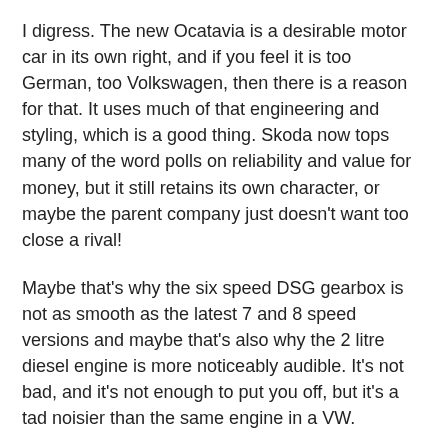I digress. The new Ocatavia is a desirable motor car in its own right, and if you feel it is too German, too Volkswagen, then there is a reason for that. It uses much of that engineering and styling, which is a good thing. Skoda now tops many of the word polls on reliability and value for money, but it still retains its own character, or maybe the parent company just doesn't want too close a rival!
Maybe that's why the six speed DSG gearbox is not as smooth as the latest 7 and 8 speed versions and maybe that's also why the 2 litre diesel engine is more noticeably audible. It's not bad, and it's not enough to put you off, but it's a tad noisier than the same engine in a VW.
When it comes to driving, the Octavia is a match for anything in this sector and with 320 Nm of torque from the 148 bhp engine, it is much more sprightly than its sedate looks might have you believe. Apart from an initial hesitancy about changing gears getting away from junctions and roundabouts, the twin clutch unit is relatively smooth and fuss-free, but it's